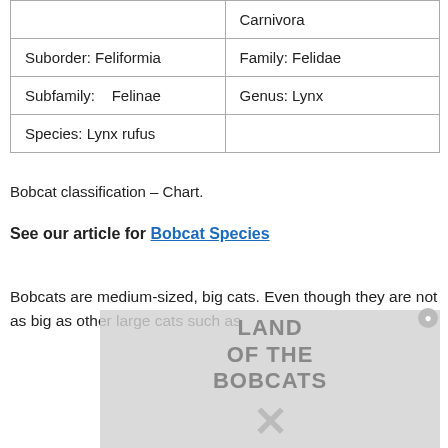|  | Carnivora |
| Suborder: Feliformia | Family: Felidae |
| Subfamily:    Felinae | Genus: Lynx |
| Species: Lynx rufus |  |
Bobcat classification – Chart.
See our article for Bobcat Species
Bobcats are medium-sized, big cats. Even though they are not as big as other large cats such as
[Figure (photo): Overlay advertisement image showing 'Land of the Bobcats' book or media, with a large X close button and text about media.]